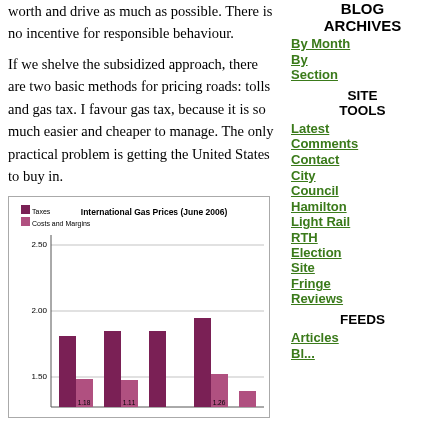worth and drive as much as possible. There is no incentive for responsible behaviour.
If we shelve the subsidized approach, there are two basic methods for pricing roads: tolls and gas tax. I favour gas tax, because it is so much easier and cheaper to manage. The only practical problem is getting the United States to buy in.
[Figure (grouped-bar-chart): International Gas Prices (June 2006)]
BLOG ARCHIVES
By Month
By Section
SITE TOOLS
Latest Comments
Contact
City Council
Hamilton Light Rail
RTH Election Site
Fringe Reviews
FEEDS
Articles
Blog